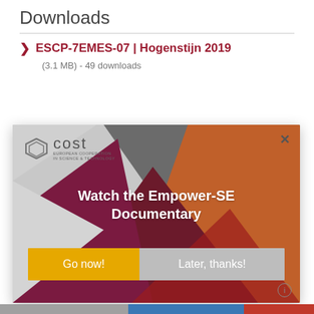Downloads
ESCP-7EMES-07 | Hogenstijn 2019
(3.1 MB) - 49 downloads
[Figure (screenshot): Modal popup overlay showing COST (European Cooperation in Science & Technology) logo, geometric colorful background (gray, dark red/purple, orange, red triangles), text 'Watch the Empower-SE Documentary', two buttons: 'Go now!' (yellow/orange) and 'Later, thanks!' (gray), close X button, and info icon.]